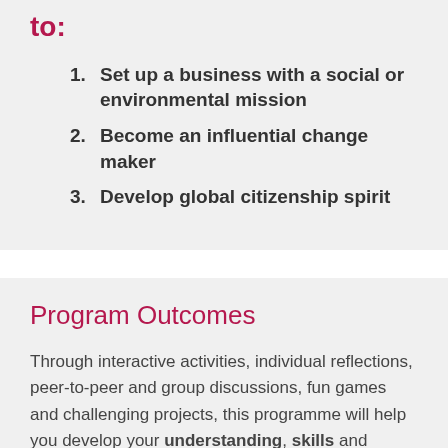to:
Set up a business with a social or environmental mission
Become an influential change maker
Develop global citizenship spirit
Program Outcomes
Through interactive activities, individual reflections, peer-to-peer and group discussions, fun games and challenging projects, this programme will help you develop your understanding, skills and confidence in the following areas: